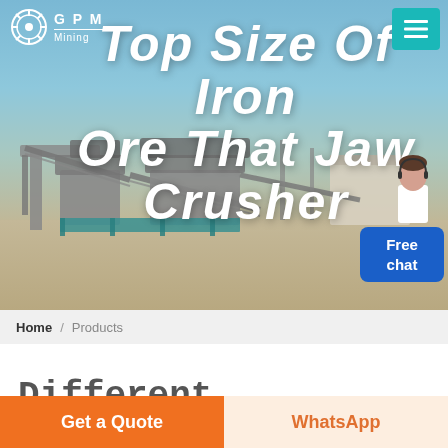[Figure (photo): Hero banner with mining/crushing facility site photo background showing conveyor belts and industrial crushing equipment in an open area with sky. Text overlay reads 'Top Size Of Iron Ore That Jaw Crusher']
GPN Mining
Top Size Of Iron Ore That Jaw Crusher
Home / Products
Different Machines To Meet All Need
Get a Quote
WhatsApp